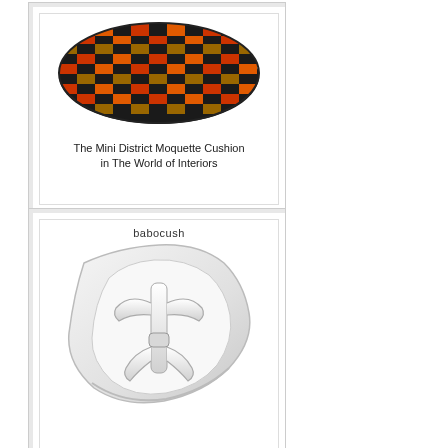[Figure (photo): Polaroid-style photo card showing a Mini District Moquette Cushion with a colorful checkered/striped pattern in red, orange, black, and yellow/gold on a rectangular cushion. Caption reads: The Mini District Moquette Cushion in The World of Interiors]
The Mini District Moquette Cushion in The World of Interiors
[Figure (photo): Polaroid-style photo card showing a Babocush infant support cushion — a white ergonomic curved seat with harness straps, reclining at an angle. Label 'babocush' appears at the top inside the card.]